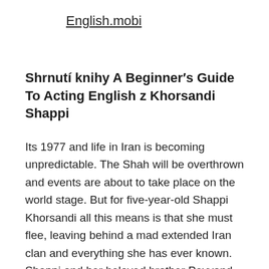English.mobi
Shrnutí knihy A Beginner′s Guide To Acting English z Khorsandi Shappi
Its 1977 and life in Iran is becoming unpredictable. The Shah will be overthrown and events are about to take place on the world stage. But for five-year-old Shappi Khorsandi all this means is that she must flee, leaving behind a mad extended Iran clan and everything she has ever known. Shappi and her beloved brother Peyvand arrive with their parents in London – all cold weather and strange food – without a word of English. If adapting to a new culture isnt